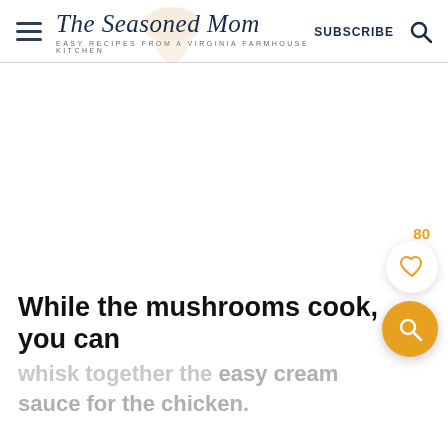The Seasoned Mom — EASY RECIPES FROM A VIRGINIA FARMHOUSE KITCHEN — SUBSCRIBE
[Figure (other): Large blank white advertisement/image space]
80
[Figure (other): Heart (save/favorite) button — white circle with orange heart icon]
[Figure (other): Orange circular search button with magnifying glass icon]
While the mushrooms cook, you can whisk together the easy cream sauce for the chicken.